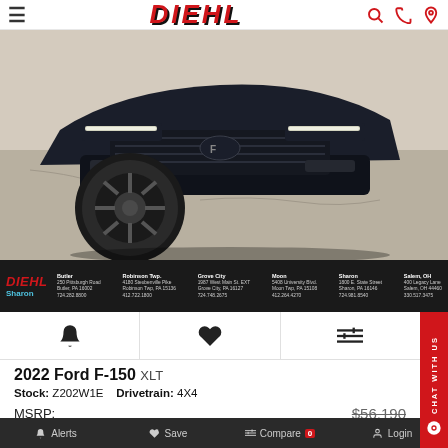DIEHL
[Figure (photo): Front partial view of a dark navy/black 2022 Ford F-150 truck parked on asphalt, showing the front grille, headlights, and left front wheel with black rims]
[Figure (infographic): Diehl Sharon dealership location bar showing multiple dealership locations: Butler (250 Pittsburgh Road, Butler PA 16002, 724.282.8800), Robinson Twp. (4180 Steubenville Pike, Robinson Twp PA 15136, 412.722.1800), Grove City (1987 West Main St. EXT, Grove City PA 16127, 724.748.2675), Moon (5408 University Blvd, Moon Twp PA 15108, 412.264.4270), Sharon (1800 E. State Street, Sharon PA 16146, 724.981.8540), Salem OH (400 Legacy Lane, Salem OH 44460, 330.517.3475)]
Bell icon | Heart icon | Sliders/compare icon
2022 Ford F-150 XLT
Stock: Z202W1E   Drivetrain: 4X4
MSRP:   $56,190
[Figure (screenshot): Diehl Auto advertisement banner with DIEHLAUTO.COM text in red on black/gray background with a photo of a dealership building and cloudy sky, and an accessibility icon circle on the left]
Alerts   Save   Compare 0   Login